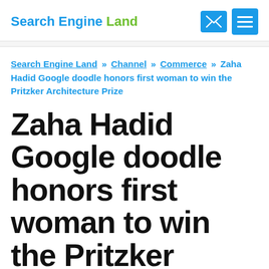Search Engine Land
Search Engine Land » Channel » Commerce » Zaha Hadid Google doodle honors first woman to win the Pritzker Architecture Prize
Zaha Hadid Google doodle honors first woman to win the Pritzker Architecture Prize